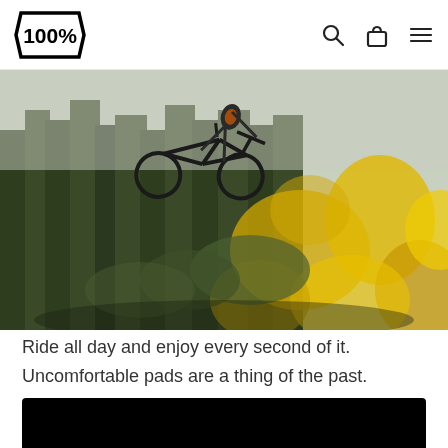100%
[Figure (photo): Mountain biker performing a jump/trick in mid-air over a trail surrounded by pine trees and yellow flowering bushes in the foreground]
Ride all day and enjoy every second of it.
Uncomfortable pads are a thing of the past.
[Figure (photo): Partial view of a dark/black product image at bottom of page]